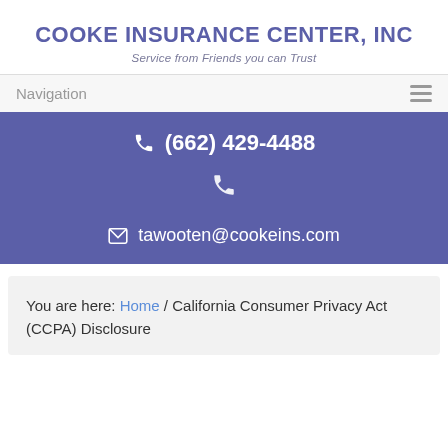COOKE INSURANCE CENTER, INC
Service from Friends you can Trust
Navigation
(662) 429-4488
tawooten@cookeins.com
You are here: Home / California Consumer Privacy Act (CCPA) Disclosure